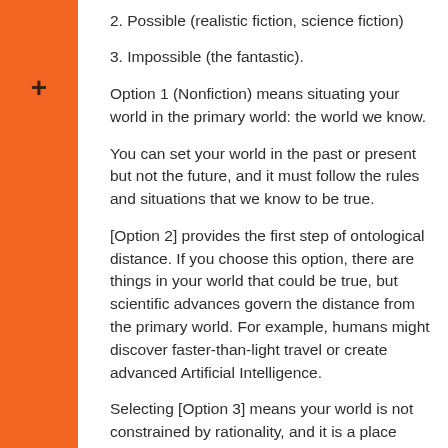2. Possible (realistic fiction, science fiction)
3. Impossible (the fantastic).
Option 1 (Nonfiction) means situating your world in the primary world: the world we know.
You can set your world in the past or present but not the future, and it must follow the rules and situations that we know to be true.
[Option 2] provides the first step of ontological distance. If you choose this option, there are things in your world that could be true, but scientific advances govern the distance from the primary world. For example, humans might discover faster-than-light travel or create advanced Artificial Intelligence.
Selecting [Option 3] means your world is not constrained by rationality, and it is a place where magic